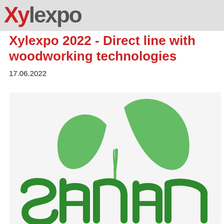Xylexpo
Xylexpo 2022 - Direct line with woodworking technologies
17.06.2022
[Figure (logo): Sana logo — green plant sprout with two leaves above the word 'sana' in green rounded lowercase letters]